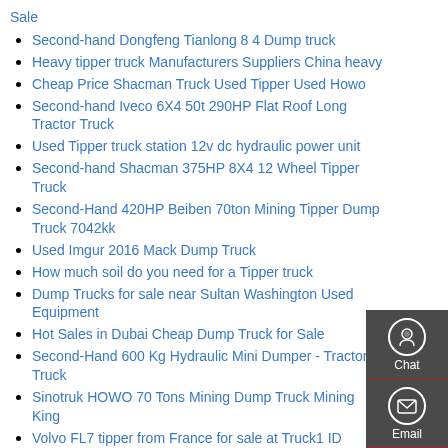Sale
Second-hand Dongfeng Tianlong 8 4 Dump truck
Heavy tipper truck Manufacturers Suppliers China heavy
Cheap Price Shacman Truck Used Tipper Used Howo
Second-hand Iveco 6X4 50t 290HP Flat Roof Long Tractor Truck
Used Tipper truck station 12v dc hydraulic power unit
Second-hand Shacman 375HP 8X4 12 Wheel Tipper Truck
Second-Hand 420HP Beiben 70ton Mining Tipper Dump Truck 7042kk
Used Imgur 2016 Mack Dump Truck
How much soil do you need for a Tipper truck
Dump Trucks for sale near Sultan Washington Used Equipment
Hot Sales in Dubai Cheap Dump Truck for Sale
Second-Hand 600 Kg Hydraulic Mini Dumper - Tractor Truck
Sinotruk HOWO 70 Tons Mining Dump Truck Mining King
Volvo FL7 tipper from France for sale at Truck1 ID 587433
Used Dongfeng 4x2 Dump truck with good quality